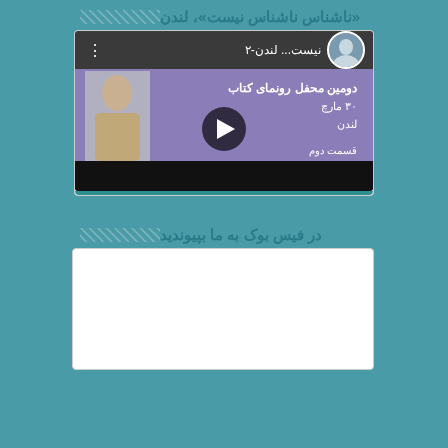«ناشناس ناشناس نیست»، لندن
[Figure (screenshot): Video thumbnail showing a purple background with Persian text about a book launch event (دومین محفل رونمای کتاب), date 30 March, location London, part 2 (قسمت دوم). There is a person's photo on the left, a play button in the center, and a small avatar with name in the top bar. Bottom bar is black (video controls). The title bar shows: نیست... لندن-۲]
در فیس بوک به ما بپیوندید